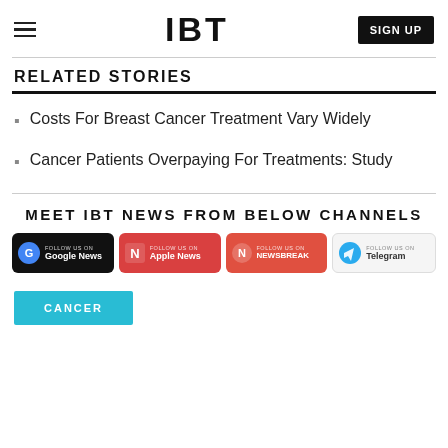IBT | SIGN UP
RELATED STORIES
Costs For Breast Cancer Treatment Vary Widely
Cancer Patients Overpaying For Treatments: Study
MEET IBT NEWS FROM BELOW CHANNELS
[Figure (logo): Social channel badges: Google News, Apple News, NewsBreak, Telegram]
CANCER